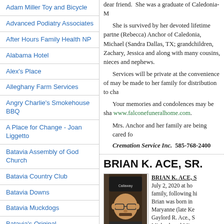Adam Miller Toy and Bicycle
Advanced Podiatry Associates
After Hours Family Health NP
Alabama Hotel
Alex's Place
Alleghany Farm Services
Angry Charlie's Smokehouse BBQ
A Place for Change - Joan Liggetto
Batavia Assembly of God Church
Batavia Country Club
Batavia Downs
Batavia Muckdogs
Batavia's Original
Batavia Redemption Center, Eastown Beverages
Beds 'n' Bones Pet Lodge
Bill Fox and Son Construction & Remodeling
dear friend. She was a graduate of Caledonia-M
She is survived by her devoted lifetime partne (Rebecca) Anchor of Caledonia, Michael (Sandra Dallas, TX; grandchildren, Zachary, Jessica and along with many cousins, nieces and nephews.
Services will be private at the convenience of may be made to her family for distribution to cha
Your memories and condolences may be sha www.falconefuneralhome.com.
Mrs. Anchor and her family are being cared fo Cremation Service Inc.  585-768-2400
BRIAN K. ACE, SR.
[Figure (photo): Portrait photo of Brian K. Ace Sr., a man wearing glasses and a dark Callaway brand cap.]
BRIAN K. ACE, S July 2, 2020 at ho family, following hi Brian was born in Maryanne (late Ke Gaylord R. Ace., S Michael, and Mica
Brian was an assi prior to his illnes